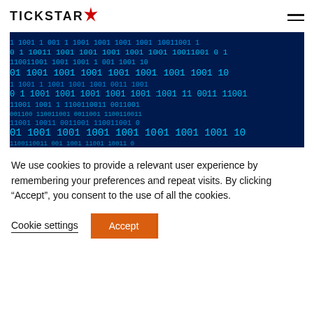TICKSTAR
[Figure (illustration): Binary code image showing rows of 0s and 1s in cyan/teal color on a dark blue background.]
We use cookies to provide a relevant user experience by remembering your preferences and repeat visits. By clicking “Accept”, you consent to the use of all the cookies.
Cookie settings  Accept